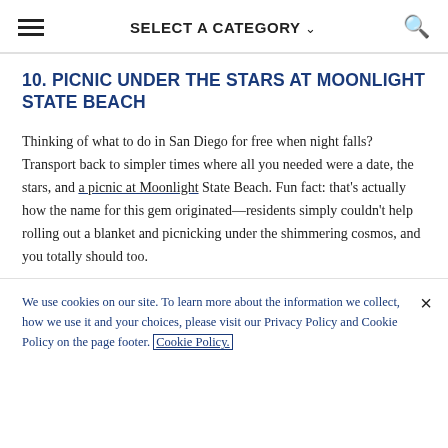SELECT A CATEGORY
10. PICNIC UNDER THE STARS AT MOONLIGHT STATE BEACH
Thinking of what to do in San Diego for free when night falls? Transport back to simpler times where all you needed were a date, the stars, and a picnic at Moonlight State Beach. Fun fact: that's actually how the name for this gem originated—residents simply couldn't help rolling out a blanket and picnicking under the shimmering cosmos, and you totally should too.
We use cookies on our site. To learn more about the information we collect, how we use it and your choices, please visit our Privacy Policy and Cookie Policy on the page footer. Cookie Policy.